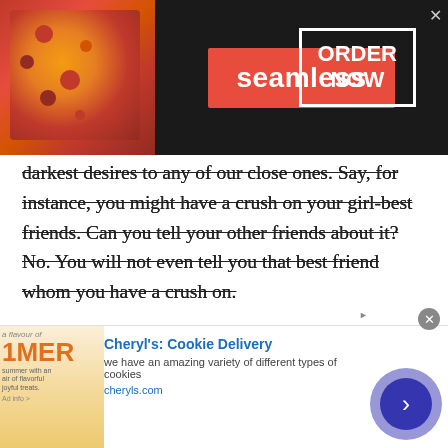[Figure (screenshot): Seamless food delivery advertisement banner with pizza image on left, red Seamless logo in center, and ORDER NOW box on right, on dark background]
darkest desires to any of our close ones. Say, for instance, you might have a crush on your girl-best friends. Can you tell your other friends about it? No. You will not even tell you that best friend whom you have a crush on.
The reason being, you are scared that you will lose your friendship if you do so. It also itches you to see her every day and not express your feelings to her. In this case, when you cannot talk to any of your close ones, you will then need someone who will
[Figure (screenshot): Cheryl's Cookie Delivery advertisement banner at bottom of page with cookie image and blue arrow button]